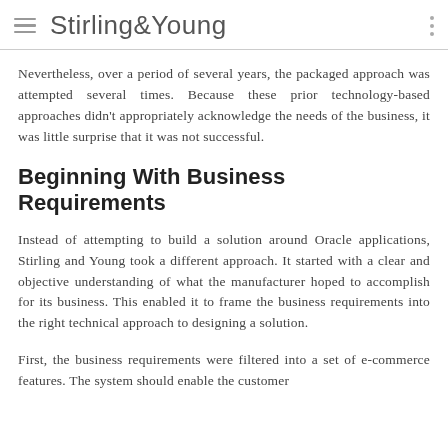Stirling&Young
Nevertheless, over a period of several years, the packaged approach was attempted several times. Because these prior technology-based approaches didn't appropriately acknowledge the needs of the business, it was little surprise that it was not successful.
Beginning With Business Requirements
Instead of attempting to build a solution around Oracle applications, Stirling and Young took a different approach. It started with a clear and objective understanding of what the manufacturer hoped to accomplish for its business. This enabled it to frame the business requirements into the right technical approach to designing a solution.
First, the business requirements were filtered into a set of e-commerce features. The system should enable the customer